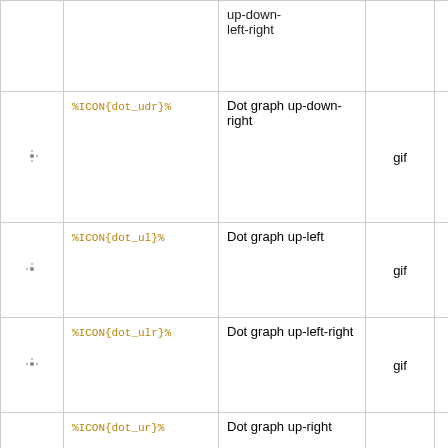|  | Variable | Description | Type | Size |  |
| --- | --- | --- | --- | --- | --- |
| [icon] | %ICON{dot_udr}% | Dot graph up-down-right | gif | 16x16 |  |
| [icon] | %ICON{dot_ul}% | Dot graph up-left | gif | 16x16 |  |
| [icon] | %ICON{dot_ulr}% | Dot graph up-left-right | gif | 16x16 |  |
| [icon] | %ICON{dot_ur}% | Dot graph up-right | gif | 16x16 |  |
| [icon] | %ICON{node-minus}% | Minus node graph | gif | 16x16 |  |
| [icon] | %ICON{node-minus_r}% | Minus node graph right | gif | 16x16 |  |
| [icon] | %ICON{node-minus_udr}% | Minus node graph up-down-right | gif | 16x16 |  |
| [icon] | %ICON{node-minus_ul}% | Minus node graph up... | gif | 16x16 |  |